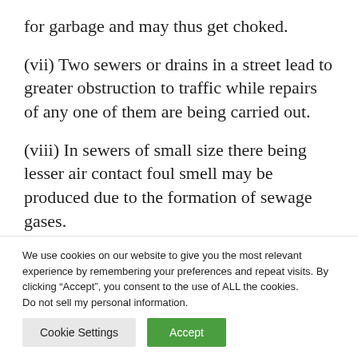for garbage and may thus get choked.
(vii) Two sewers or drains in a street lead to greater obstruction to traffic while repairs of any one of them are being carried out.
(viii) In sewers of small size there being lesser air contact foul smell may be produced due to the formation of sewage gases.
We use cookies on our website to give you the most relevant experience by remembering your preferences and repeat visits. By clicking “Accept”, you consent to the use of ALL the cookies. Do not sell my personal information.